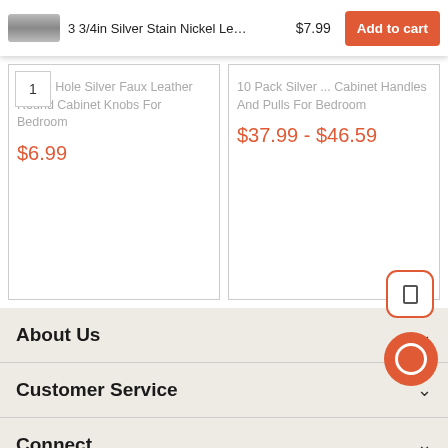[Figure (screenshot): Sticky add-to-cart bar with product image placeholder of a silver cabinet handle, product name '3 3/4in Silver Stain Nickel Le...', price '$7.99', and red 'Add to cart' button]
Single Hole Silver Faux Leather Round Cabinet Knobs For Bedroom
$6.99
10 Pack Silver ... Cabinet Handles And Pulls For Bedroom
$37.99 - $46.59
About Us
Customer Service
Connect
Subscribe